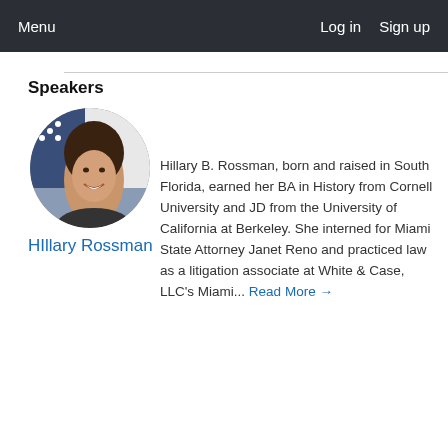Menu   Log in   Sign up
Speakers
[Figure (photo): Circular headshot of Hillary Rossman, a woman with long dark hair, smiling, with an American flag visible in the background.]
HIllary Rossman
Hillary B. Rossman, born and raised in South Florida, earned her BA in History from Cornell University and JD from the University of California at Berkeley. She interned for Miami State Attorney Janet Reno and practiced law as a litigation associate at White & Case, LLC's Miami... Read More →